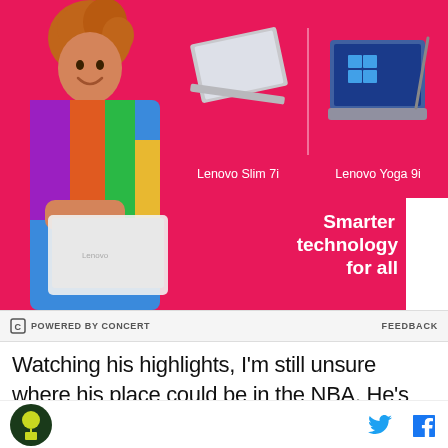[Figure (photo): Lenovo advertisement on hot pink background. A woman with curly hair wearing colorful dress holds a white laptop. Two laptops shown: Lenovo Slim 7i (open slim laptop) and Lenovo Yoga 9i (convertible with stylus). Text reads 'Smarter technology for all' with Lenovo logo badge in white on the right side.]
POWERED BY CONCERT   FEEDBACK
Watching his highlights, I'm still unsure where his place could be in the NBA. He's able to drive to the basket
[Figure (logo): Site logo - circular green badge with yellow icon, and social share icons for Twitter and Facebook]